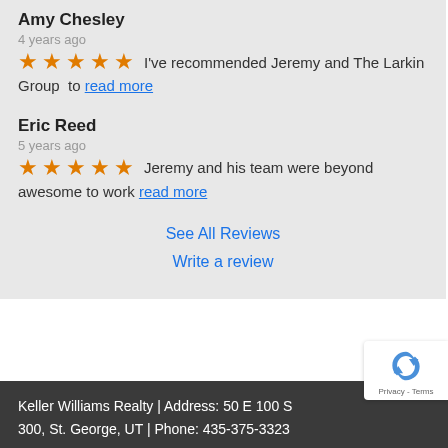Amy Chesley
4 years ago
I've recommended Jeremy and The Larkin Group  to read more
Eric Reed
5 years ago
Jeremy and his team were beyond awesome to work read more
See All Reviews
Write a review
Keller Williams Realty | Address: 50 E 100 S #300, St. George, UT | Phone: 435-375-3323